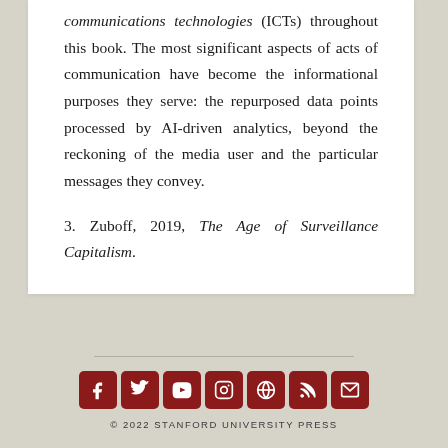communications technologies (ICTs) throughout this book. The most significant aspects of acts of communication have become the informational purposes they serve: the repurposed data points processed by AI-driven analytics, beyond the reckoning of the media user and the particular messages they convey.
3. Zuboff, 2019, The Age of Surveillance Capitalism.
© 2022 STANFORD UNIVERSITY PRESS